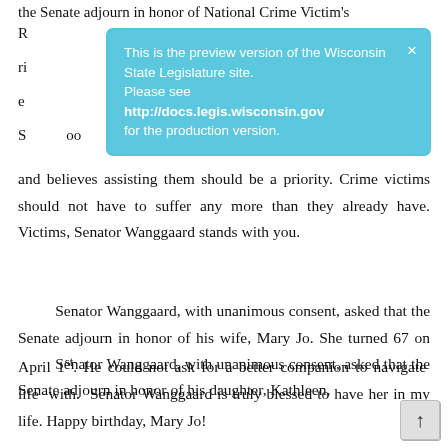the Senate adjourn in honor of National Crime Victim's R[...] ri[...] e[...] S[...]
[Figure (screenshot): Blue popup overlay reading: This is the preview version of the Wisconsin State Legislature site. Please see http://docs.legis.wisconsin.gov for the production version. With an X close button.]
and believes assisting them should be a priority. Crime victims should not have to suffer any more than they already have. Victims, Senator Wanggaard stands with you.
Senator Wanggaard, with unanimous consent, asked that the Senate adjourn in honor of his wife, Mary Jo. She turned 67 on April 1st. He could not ask for a better companion to navigate life with. Senator Wanggaard is truly blessed to have her in my life. Happy birthday, Mary Jo!
Senator Wanggaard, with unanimous consent, asked that the Senate adjourn in honor of his daughter, Kathleen,